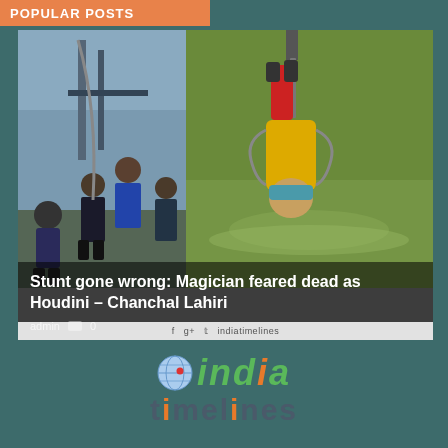POPULAR POSTS
[Figure (photo): Two-photo collage: left shows people at a dock/port setting; right shows a magician in colorful costume being pulled out of water upside down, suspended by chains from a crane hook.]
Stunt gone wrong: Magician feared dead as Houdini – Chanchal Lahiri
admin  0
[Figure (logo): India Timelines logo: globe icon followed by 'india' in green italic, and 'timelines' in dark teal below.]